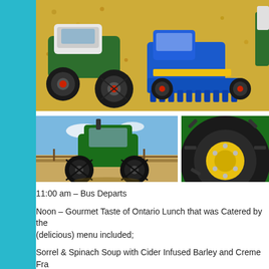[Figure (photo): Aerial view of toy farm tractors (green and white Fendt, blue harvester) on corn/grain surface]
[Figure (photo): Green John Deere tractor viewed from rear, parked on dirt road in open farmland with blue sky]
[Figure (photo): Close-up of large John Deere tractor tire with yellow rim]
11:00 am – Bus Departs
Noon – Gourmet Taste of Ontario Lunch that was Catered by the (delicious) menu included;
Sorrel & Spinach Soup with Cider Infused Barley and Creme Fra